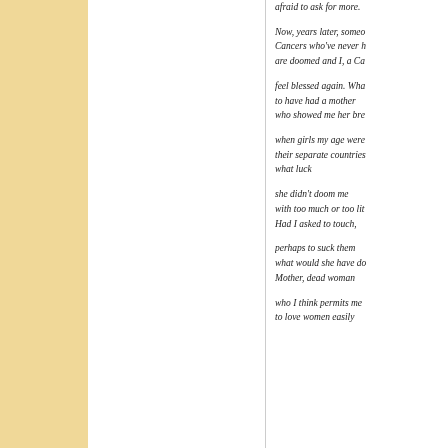afraid to ask for more.
Now, years later, someo
Cancers who've never h
are doomed and I, a Ca
feel blessed again. Wha
to have had a mother
who showed me her bre
when girls my age were
their separate countries
what luck
she didn't doom me
with too much or too lit
Had I asked to touch,
perhaps to suck them
what would she have do
Mother, dead woman
who I think permits me
to love women easily